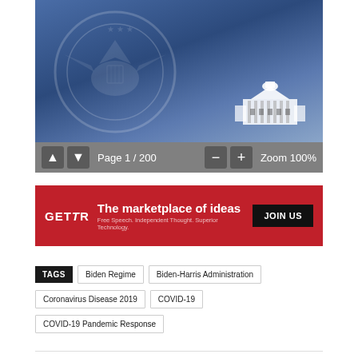[Figure (screenshot): PDF viewer showing a government document page with blue/navy background featuring the US Presidential seal watermark and White House icon. Toolbar shows Page 1 / 200 and Zoom 100%.]
[Figure (screenshot): GETTR advertisement banner: red background with GETTR logo, text 'The marketplace of ideas / Free Speech. Independent Thought. Superior Technology.' and a black JOIN US button.]
TAGS  Biden Regime  Biden-Harris Administration  Coronavirus Disease 2019  COVID-19  COVID-19 Pandemic Response